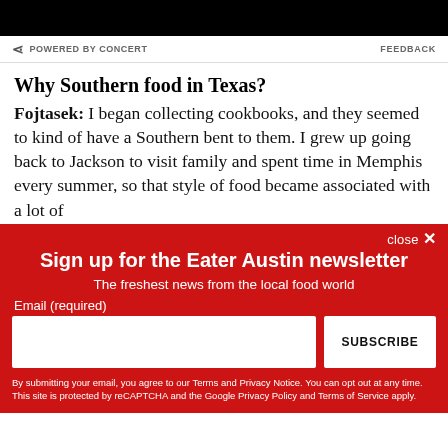[Figure (screenshot): Black banner at top of page]
POWERED BY CONCERT   FEEDBACK
Why Southern food in Texas?
Fojtasek: I began collecting cookbooks, and they seemed to kind of have a Southern bent to them. I grew up going back to Jackson to visit family and spent time in Memphis every summer, so that style of food became associated with a lot of
close ✕
Sign up for the Eater Austin newsletter
The freshest news from the local food world
Email (required)
SUBSCRIBE
By submitting your email, you agree to our Terms and Privacy Notice. You can opt out at any time. This site is protected by reCAPTCHA and the Google Privacy Policy and Terms of Service apply.